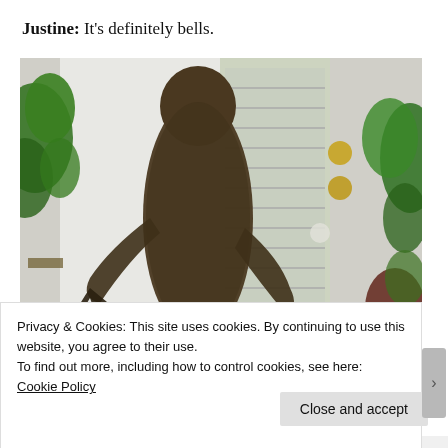Justine: It's definitely bells.
[Figure (photo): An alligator standing upright on its hind legs leaning against a white front door with a sidelight window, flanked by green potted plants on both sides. The door has gold/brass door hardware visible.]
Privacy & Cookies: This site uses cookies. By continuing to use this website, you agree to their use.
To find out more, including how to control cookies, see here:
Cookie Policy
Close and accept